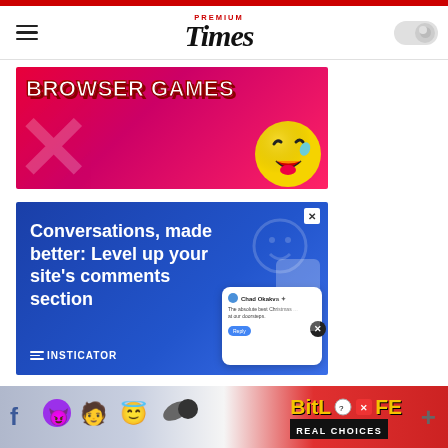Premium Times
[Figure (photo): Browser Games advertisement banner with red background, large yellow emoji face and decorative X shapes]
[Figure (infographic): Insticator advertisement: 'Conversations, made better: Level up your site's comments section' on blue background with chat UI mockup]
[Figure (infographic): Bottom bar advertisement for BitLife - Real Choices game with emoji characters, Facebook icon, and plus icon]